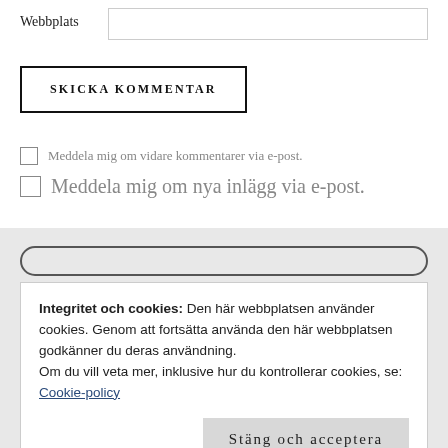Webbplats
SKICKA KOMMENTAR
Meddela mig om vidare kommentarer via e-post.
Meddela mig om nya inlägg via e-post.
Integritet och cookies: Den här webbplatsen använder cookies. Genom att fortsätta använda den här webbplatsen godkänner du deras användning.
Om du vill veta mer, inklusive hur du kontrollerar cookies, se:
Cookie-policy
Stäng och acceptera